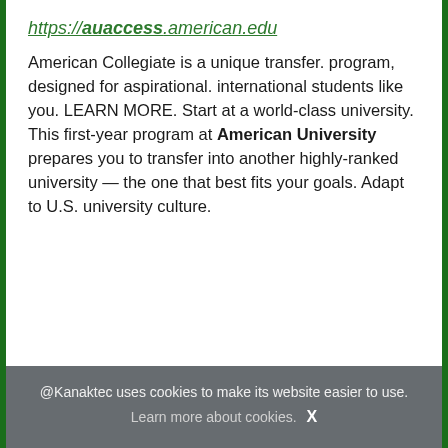https://auaccess.american.edu
American Collegiate is a unique transfer. program, designed for aspirational. international students like you. LEARN MORE. Start at a world-class university. This first-year program at American University prepares you to transfer into another highly-ranked university — the one that best fits your goals. Adapt to U.S. university culture.
@Kanaktec uses cookies to make its website easier to use. Learn more about cookies. X